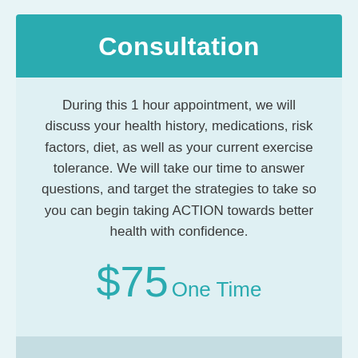Consultation
During this 1 hour appointment, we will discuss your health history, medications, risk factors, diet, as well as your current exercise tolerance. We will take our time to answer questions, and target the strategies to take so you can begin taking ACTION towards better health with confidence.
$75 One Time
Review your medical history, risk factors, medications, diet and current exercise tolerance